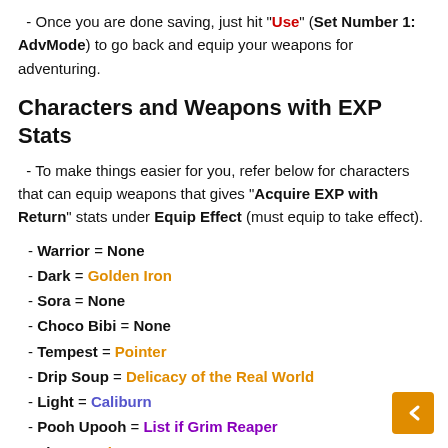- Once you are done saving, just hit "Use" (Set Number 1: AdvMode) to go back and equip your weapons for adventuring.
Characters and Weapons with EXP Stats
- To make things easier for you, refer below for characters that can equip weapons that gives "Acquire EXP with Return" stats under Equip Effect (must equip to take effect).
- Warrior = None
- Dark = Golden Iron
- Sora = None
- Choco Bibi = None
- Tempest = Pointer
- Drip Soup = Delicacy of the Real World
- Light = Caliburn
- Pooh Upooh = List if Grim Reaper
- Lime = Echo